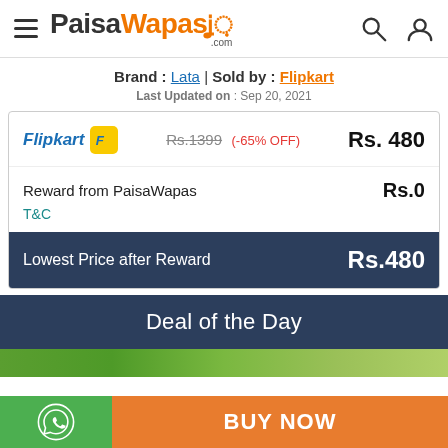PaisaWapas.com
Brand : Lata | Sold by : Flipkart
Last Updated on : Sep 20, 2021
| Store | Price Info | Price |
| --- | --- | --- |
| Flipkart | Rs.1399 (-65% OFF) | Rs. 480 |
| Reward from PaisaWapas |  | Rs.0 |
| Lowest Price after Reward |  | Rs.480 |
Deal of the Day
BUY NOW